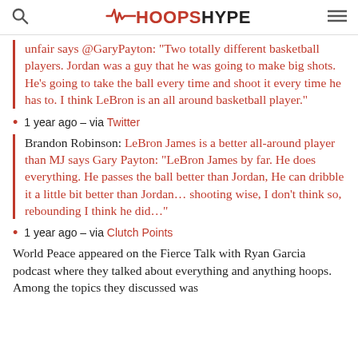HOOPSHYPE
unfair says @GaryPayton: "Two totally different basketball players. Jordan was a guy that he was going to make big shots. He's going to take the ball every time and shoot it every time he has to. I think LeBron is an all around basketball player."
1 year ago – via Twitter
Brandon Robinson: LeBron James is a better all-around player than MJ says Gary Payton: "LeBron James by far. He does everything. He passes the ball better than Jordan, He can dribble it a little bit better than Jordan... shooting wise, I don't think so, rebounding I think he did..."
1 year ago – via Clutch Points
World Peace appeared on the Fierce Talk with Ryan Garcia podcast where they talked about everything and anything hoops. Among the topics they discussed was